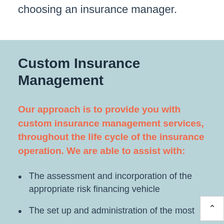choosing an insurance manager.
Custom Insurance Management
Our approach is to provide you with custom insurance management services, throughout the life cycle of the insurance operation. We are able to assist with:
The assessment and incorporation of the appropriate risk financing vehicle
The set up and administration of the most